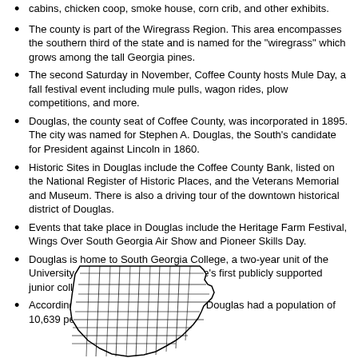cabins, chicken coop, smoke house, corn crib, and other exhibits.
The county is part of the Wiregrass Region. This area encompasses the southern third of the state and is named for the "wiregrass" which grows among the tall Georgia pines.
The second Saturday in November, Coffee County hosts Mule Day, a fall festival event including mule pulls, wagon rides, plow competitions, and more.
Douglas, the county seat of Coffee County, was incorporated in 1895. The city was named for Stephen A. Douglas, the South's candidate for President against Lincoln in 1860.
Historic Sites in Douglas include the Coffee County Bank, listed on the National Register of Historic Places, and the Veterans Memorial and Museum. There is also a driving tour of the downtown historical district of Douglas.
Events that take place in Douglas include the Heritage Farm Festival, Wings Over South Georgia Air Show and Pioneer Skills Day.
Douglas is home to South Georgia College, a two-year unit of the University System of Georgia, the state's first publicly supported junior college.
According to 2000 Census, the City of Douglas had a population of 10,639 persons.
[Figure (map): Map of Georgia counties with county boundaries shown, highlighting Coffee County region in South Georgia.]